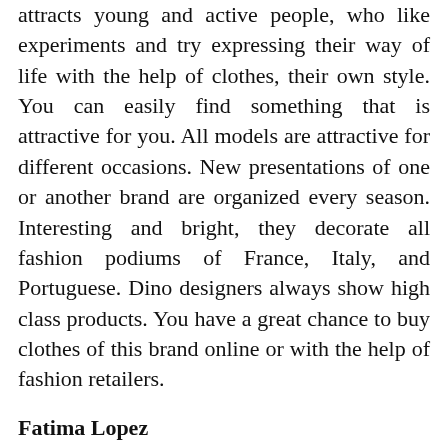attracts young and active people, who like experiments and try expressing their way of life with the help of clothes, their own style. You can easily find something that is attractive for you. All models are attractive for different occasions. New presentations of one or another brand are organized every season. Interesting and bright, they decorate all fashion podiums of France, Italy, and Portuguese. Dino designers always show high class products. You have a great chance to buy clothes of this brand online or with the help of fashion retailers.
Fatima Lopez
1998 was a great period for young talented designer Fatima Lopez. She opens her fashion boutique in Bairro Alto - the building of 1200 square meters in area to place bar, shop, studio and model agency Face Model. Fatima also was the first representation of